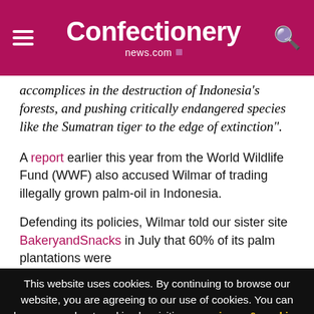Confectionery news.com
accomplices in the destruction of Indonesia's forests, and pushing critically endangered species like the Sumatran tiger to the edge of extinction".
A report earlier this year from the World Wildlife Fund (WWF) also accused Wilmar of trading illegally grown palm-oil in Indonesia.
Defending its policies, Wilmar told our sister site BakeryandSnacks in July that 60% of its palm plantations were
This website uses cookies. By continuing to browse our website, you are agreeing to our use of cookies. You can learn more about cookies by visiting our privacy & cookies policy page.